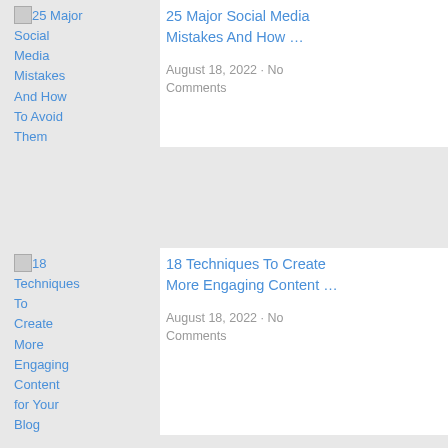25 Major Social Media Mistakes And How To Avoid Them
August 18, 2022 · No Comments
18 Techniques To Create More Engaging Content for Your Blog
August 18, 2022 · No Comments